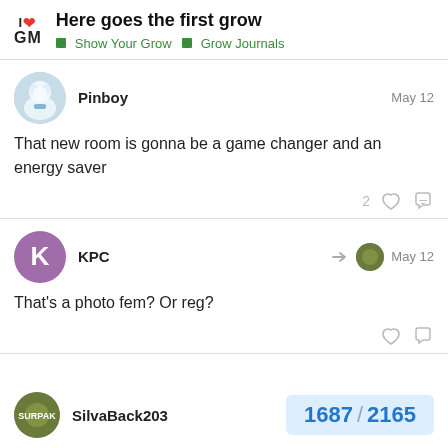I ❤ GM — Here goes the first grow | Show Your Grow | Grow Journals
Pinboy — May 12
That new room is gonna be a game changer and an energy saver
KPC — May 12
That's a photo fem? Or reg?
SilvaBack203
1687 / 2165